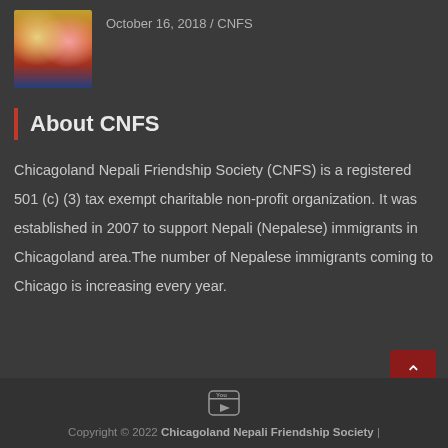[Figure (photo): Thumbnail image of a Nepali movie/show poster with two people and colorful text]
October 16, 2018 / CNFS
About CNFS
Chicagoland Nepali Friendship Society (CNFS) is a registered 501 (c) (3) tax exempt charitable non-profit organization. It was established in 2007 to support Nepali (Nepalese) immigrants in Chicagoland area.The number of Nepalese immigrants coming to Chicago is increasing every year.
[Figure (logo): YouTube icon]
Copyright © 2022 Chicagoland Nepali Friendship Society  |